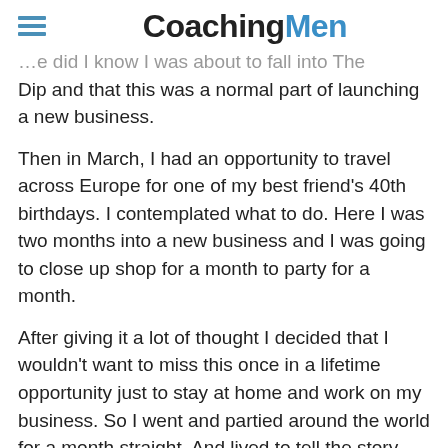CoachingMen
…e did I know I was about to fall into The Dip and that this was a normal part of launching a new business.
Then in March, I had an opportunity to travel across Europe for one of my best friend's 40th birthdays. I contemplated what to do. Here I was two months into a new business and I was going to close up shop for a month to party for a month.
After giving it a lot of thought I decided that I wouldn't want to miss this once in a lifetime opportunity just to stay at home and work on my business. So I went and partied around the world for a month straight. And lived to tell the story.